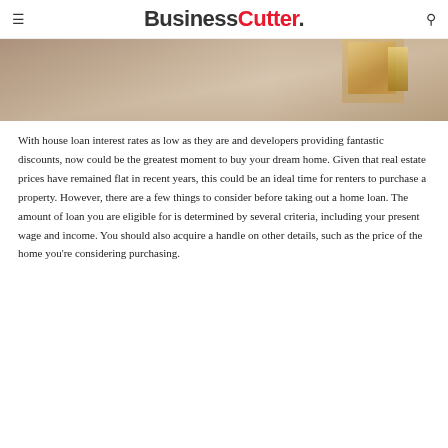BusinessCutter.
[Figure (photo): Close-up photo of a wooden surface with a small house model or keys in the upper right, blurred background suggesting a real estate or home loan theme.]
With house loan interest rates as low as they are and developers providing fantastic discounts, now could be the greatest moment to buy your dream home. Given that real estate prices have remained flat in recent years, this could be an ideal time for renters to purchase a property. However, there are a few things to consider before taking out a home loan. The amount of loan you are eligible for is determined by several criteria, including your present wage and income. You should also acquire a handle on other details, such as the price of the home you're considering purchasing.